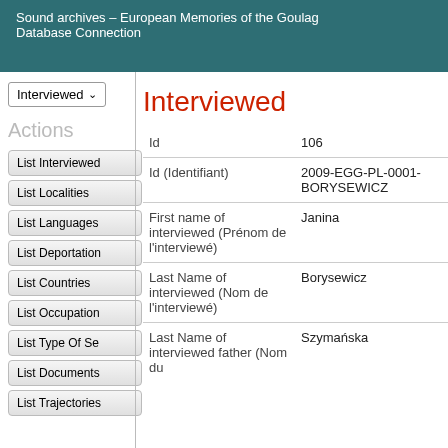Sound archives – European Memories of the Goulag Connection Database
Interviewed ▾
Actions
Interviewed
List Interviewed
List Localities
List Languages
List Deportation
List Countries
List Occupation
List Type Of Se
List Documents
List Trajectories
| Field | Value |
| --- | --- |
| Id | 106 |
| Id (Identifiant) | 2009-EGG-PL-0001-BORYSEWICZ |
| First name of interviewed (Prénom de l'interviewé) | Janina |
| Last Name of interviewed (Nom de l'interviewé) | Borysewicz |
| Last Name of interviewed father (Nom du | Szymańska |